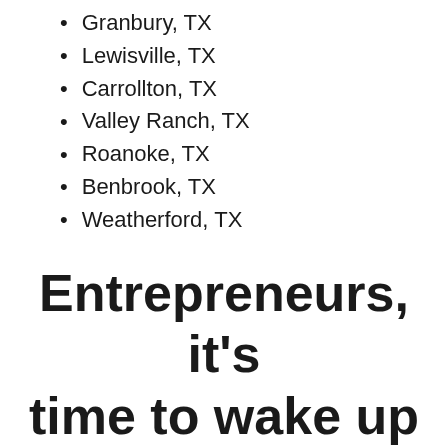Granbury, TX
Lewisville, TX
Carrollton, TX
Valley Ranch, TX
Roanoke, TX
Benbrook, TX
Weatherford, TX
Entrepreneurs, it's time to wake up and get to work on your dreams